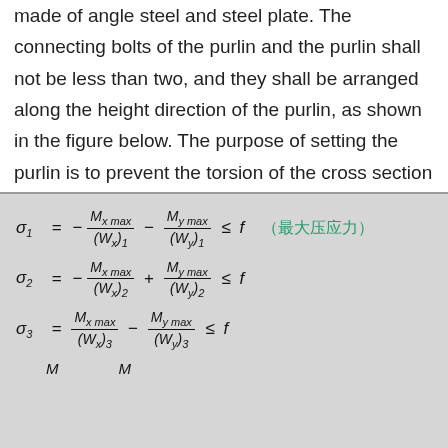made of angle steel and steel plate. The connecting bolts of the purlin and the purlin shall not be less than two, and they shall be arranged along the height direction of the purlin, as shown in the figure below. The purpose of setting the purlin is to prevent the torsion of the cross section of the end of the purlin to enhance its overall stability.